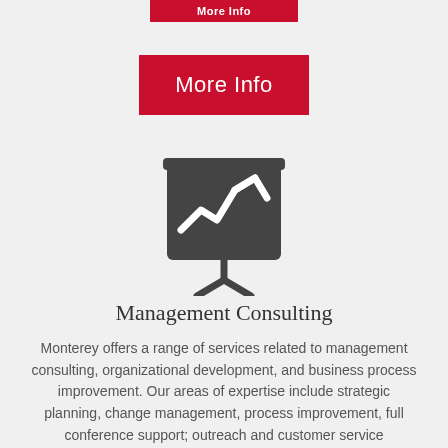[Figure (other): Partially visible red More Info button at top (cropped)]
[Figure (other): Red More Info button]
[Figure (illustration): Presentation board icon with line chart and checkmark, dark gray, on tripod stand]
Management Consulting
Monterey offers a range of services related to management consulting, organizational development, and business process improvement. Our areas of expertise include strategic planning, change management, process improvement, full conference support; outreach and customer service